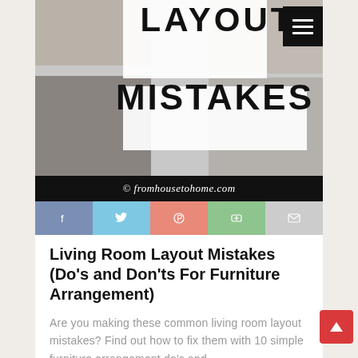[Figure (photo): Collage of living room interior design photos with large text overlay reading 'LAYOUT MISTAKES' and a hamburger menu icon in the top right corner, plus a black watermark bar reading '© fromhousetohome.com']
[Figure (infographic): Social sharing buttons row: Facebook (blue-gray), Twitter (light blue), Pinterest (salmon/pink), Google+ (green), Email (gray)]
Living Room Layout Mistakes (Do's and Don'ts For Furniture Arrangement)
Are you making these common living room layout mistakes? Find out how to fix them with 10 simple furniture arrangement do's and don'ts